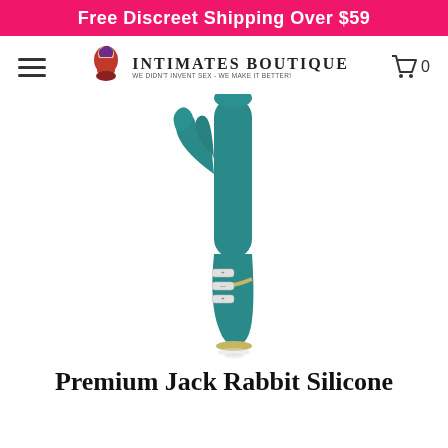Free Discreet Shipping Over $59
[Figure (logo): Intimates Boutique logo with illustrated woman figure and tagline 'We didn't invent sex - We make it better!']
[Figure (photo): Teal/blue-green rabbit-style vibrator with gold accent trim and three control buttons on the handle, shown on white background with reflection]
Premium Jack Rabbit Silicone